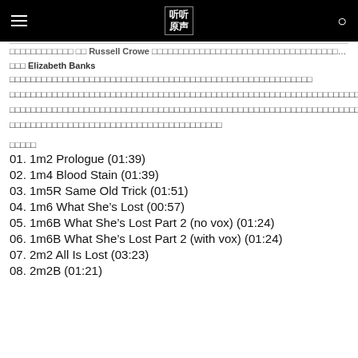听听原声
Russell Crowe 相关中文内容
主演 Elizabeth Banks 相关中文内容描述段落一
中文内容段落二
中文内容段落三
中文内容段落四
曲目列表
01. 1m2 Prologue (01:39)
02. 1m4 Blood Stain (01:39)
03. 1m5R Same Old Trick (01:51)
04. 1m6 What She’s Lost (00:57)
05. 1m6B What She’s Lost Part 2 (no vox) (01:24)
06. 1m6B What She’s Lost Part 2 (with vox) (01:24)
07. 2m2 All Is Lost (03:23)
08. 2m2B (01:21)